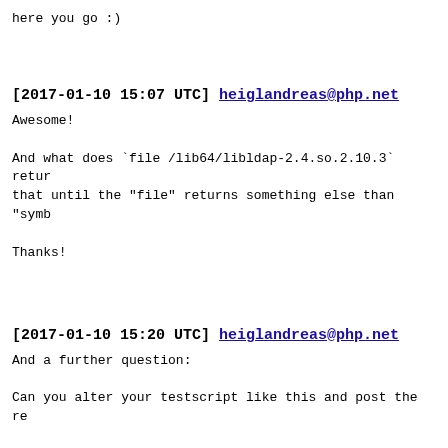here you go :)
[2017-01-10 15:07 UTC] heiglandreas@php.net
Awesome!

And what does `file /lib64/libldap-2.4.so.2.10.3` retur
that until the "file" returns something else than "symb

Thanks!
[2017-01-10 15:20 UTC] heiglandreas@php.net
And a further question:

Can you alter your testscript like this and post the re

$res = ldap_connect('ldap://<ldapserver>');
ldap_set_option($res, LDAP_OPT_PROTOCOL_VERSION, 3);
ldap_bind($res)

$response = ldap_search($res, '<base dn>', '(usnchanged: